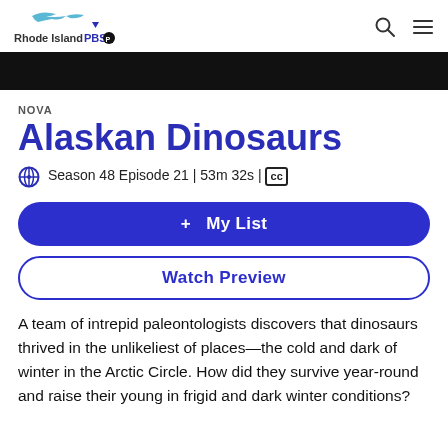Rhode Island PBS
NOVA
Alaskan Dinosaurs
Season 48 Episode 21 | 53m 32s | CC
+ My List
Watch Preview
A team of intrepid paleontologists discovers that dinosaurs thrived in the unlikeliest of places—the cold and dark of winter in the Arctic Circle. How did they survive year-round and raise their young in frigid and dark winter conditions?